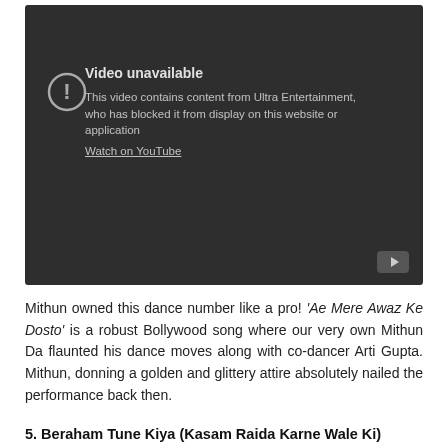[Figure (screenshot): YouTube video unavailable embed showing 'Video unavailable - This video contains content from Ultra Entertainment, who has blocked it from display on this website or application' with Watch on YouTube link and YouTube logo button.]
Mithun owned this dance number like a pro! 'Ae Mere Awaz Ke Dosto' is a robust Bollywood song where our very own Mithun Da flaunted his dance moves along with co-dancer Arti Gupta. Mithun, donning a golden and glittery attire absolutely nailed the performance back then.
5. Beraham Tune Kiya (Kasam Raida Karne Wale Ki)